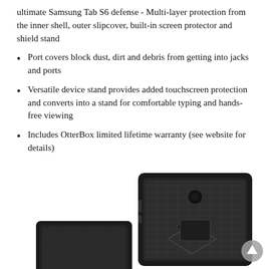ultimate Samsung Tab S6 defense - Multi-layer protection from the inner shell, outer slipcover, built-in screen protector and shield stand
Port covers block dust, dirt and debris from getting into jacks and ports
Versatile device stand provides added touchscreen protection and converts into a stand for comfortable typing and hands-free viewing
Includes OtterBox limited lifetime warranty (see website for details)
[Figure (photo): Product photo of a rugged black tablet case (OtterBox Defender for Samsung Tab S6) shown from the back, partially cropped at the bottom of the page. The case has textured surfaces and angular design elements.]